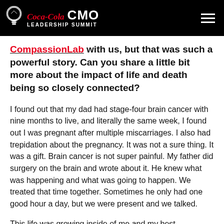Coca-Cola CMO Leadership Summit
CompassionLab with us, but that was such a powerful story. Can you share a little bit more about the impact of life and death being so closely connected?
I found out that my dad had stage-four brain cancer with nine months to live, and literally the same week, I found out I was pregnant after multiple miscarriages. I also had trepidation about the pregnancy. It was not a sure thing. It was a gift. Brain cancer is not super painful. My father did surgery on the brain and wrote about it. He knew what was happening and what was going to happen. We treated that time together. Sometimes he only had one good hour a day, but we were present and we talked.
This life was growing inside of me and my best